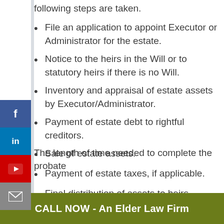following steps are taken.
File an application to appoint Executor or Administrator for the estate.
Notice to the heirs in the Will or to statutory heirs if there is no Will.
Inventory and appraisal of estate assets by Executor/Administrator.
Payment of estate debt to rightful creditors.
Sale of estate assets.
Payment of estate taxes, if applicable.
Final distribution of assets to heirs.
The length of time needed to complete the probate
CALL NOW - An Elder Law Firm